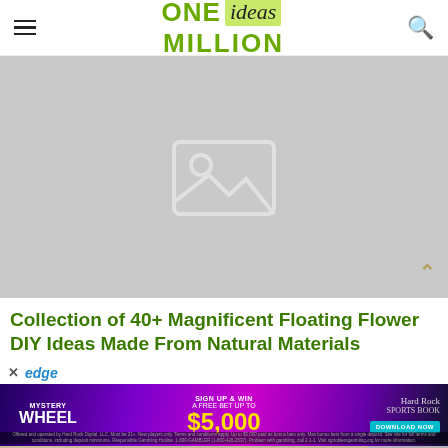ONE ideas MILLION
[Figure (photo): Hero image placeholder — grey rectangle with image placeholder icon (mountain/sun scene outline)]
Collection of 40+ Magnificent Floating Flower DIY Ideas Made From Natural Materials
[Figure (photo): Advertisement banner: Mystery Wheel — Sign Up & Win A Free Bet Up To $5,000 — Hard Rock Sports Book — Download Now. Purple/neon background. Fine print disclaimer at bottom.]
[Figure (photo): Partial photo visible at bottom of page, warm tan/mauve tones]